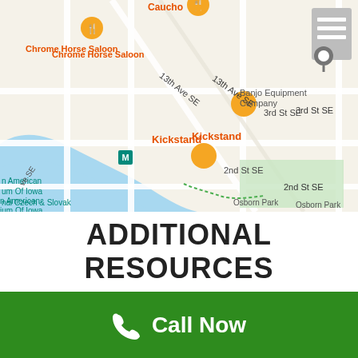[Figure (map): Google Maps screenshot showing streets including 13th Ave SE, 3rd St SE, 2nd St SE, with landmarks: Chrome Horse Saloon, Caucho, Kickstand, Banjo Equipment Company, American Museum of Iowa, National Czech & Slovak, Osborn Park. Orange restaurant pins and a grey location pin visible. Blue river runs through left side.]
ADDITIONAL RESOURCES
Call Now